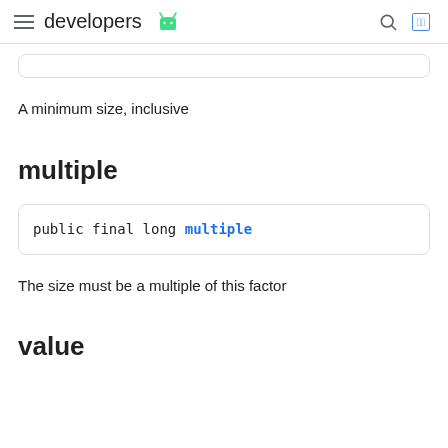developers [android logo]
A minimum size, inclusive
multiple
public final long multiple
The size must be a multiple of this factor
value